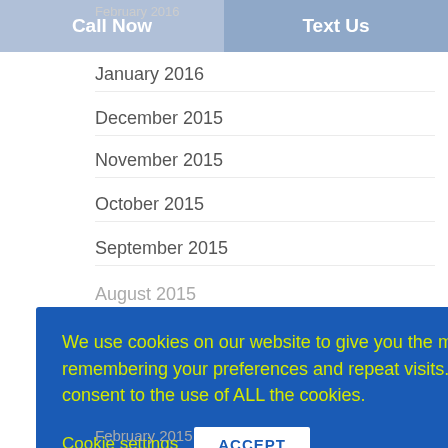Call Now | Text Us
February 2016
January 2016
December 2015
November 2015
October 2015
September 2015
August 2015
We use cookies on our website to give you the most relevant experience by remembering your preferences and repeat visits. By clicking “Accept”, you consent to the use of ALL the cookies.
Cookie settings | ACCEPT
February 2015